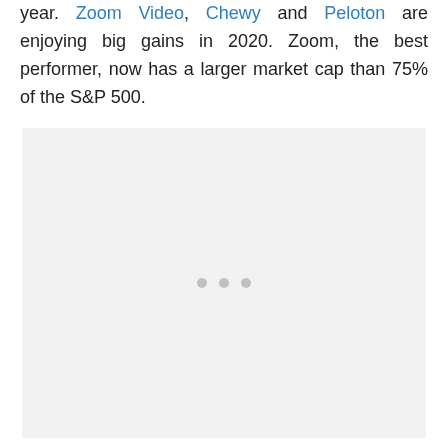year. Zoom Video, Chewy and Peloton are enjoying big gains in 2020. Zoom, the best performer, now has a larger market cap than 75% of the S&P 500.
[Figure (other): Loading placeholder — light gray rectangle with three gray dots centered, indicating a chart or image that is loading]